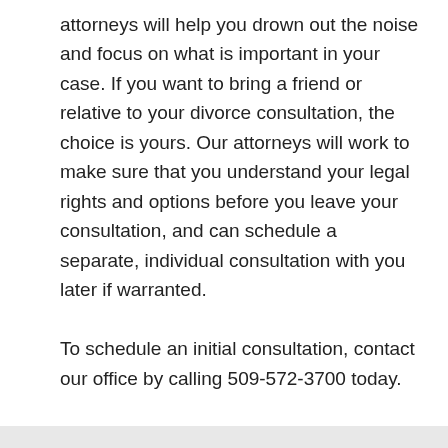attorneys will help you drown out the noise and focus on what is important in your case. If you want to bring a friend or relative to your divorce consultation, the choice is yours. Our attorneys will work to make sure that you understand your legal rights and options before you leave your consultation, and can schedule a separate, individual consultation with you later if warranted.
To schedule an initial consultation, contact our office by calling 509-572-3700 today.